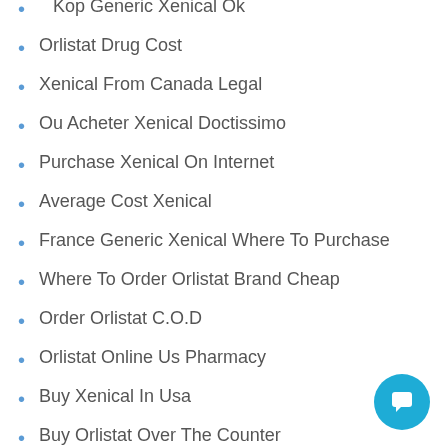Kop Generic Xenical Ok
Orlistat Drug Cost
Xenical From Canada Legal
Ou Acheter Xenical Doctissimo
Purchase Xenical On Internet
Average Cost Xenical
France Generic Xenical Where To Purchase
Where To Order Orlistat Brand Cheap
Order Orlistat C.O.D
Orlistat Online Us Pharmacy
Buy Xenical In Usa
Buy Orlistat Over The Counter
Where To Buy Generic Xenical Sverige
Purchase Xenical Pills
Cosa Costa Xenical
Buy Xenical Online Legal